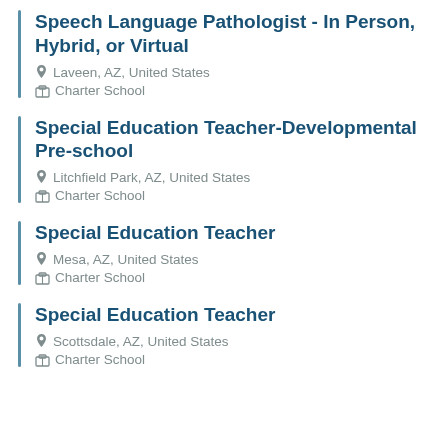Speech Language Pathologist - In Person, Hybrid, or Virtual | Laveen, AZ, United States | Charter School
Special Education Teacher-Developmental Pre-school | Litchfield Park, AZ, United States | Charter School
Special Education Teacher | Mesa, AZ, United States | Charter School
Special Education Teacher | Scottsdale, AZ, United States | Charter School